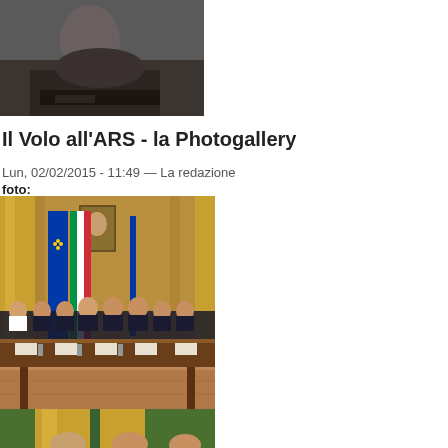[Figure (photo): Partial photo at top of page showing a person, cropped view, dark background]
Il Volo all'ARS - la Photogallery
Lun, 02/02/2015 - 11:49 — La redazione
foto:
[Figure (photo): Conference photo showing several people seated at a long wooden table in an ornate hall with yellow curtains and Italian flag in background]
[Figure (photo): Second photo showing yellow/gold curtains and what appears to be people at the bottom, partially visible]